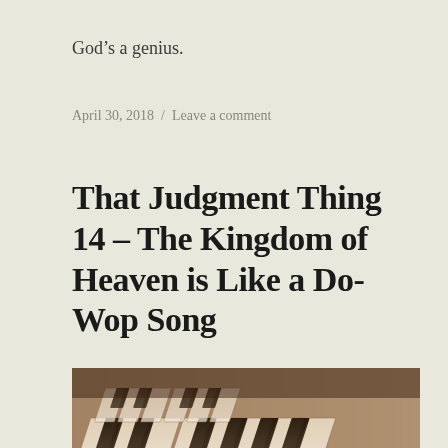God’s a genius.
April 30, 2018 / Leave a comment
That Judgment Thing 14 – The Kingdom of Heaven is Like a Do-Wop Song
[Figure (photo): Close-up sepia-toned photograph of piano keys showing black and white keys from an angle]